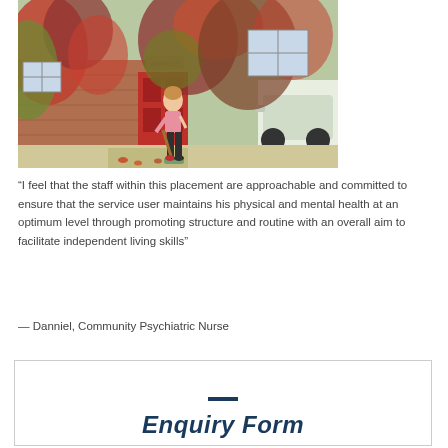[Figure (photo): A woman in a pink top and dark trousers sweeping the front path of a brick house covered in red and green ivy, with a car visible on the right side.]
“I feel that the staff within this placement are approachable and committed to ensure that the service user maintains his physical and mental health at an optimum level through promoting structure and routine with an overall aim to facilitate independent living skills”
— Danniel, Community Psychiatric Nurse
Enquiry Form